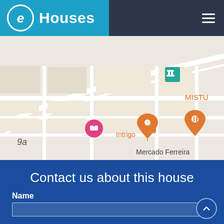[Figure (logo): eHouses logo with circular e icon on blue background, hamburger menu icon on dark background]
[Figure (map): Google Maps style street map showing locations: Intrigo restaurant pin (orange), MISTU restaurant pin (orange), a museum/landmark icon (teal), a hotel/accommodation icon (pink/red), and Mercado Ferreira label. Street grid visible with beige/tan building blocks.]
Contact us about this house
Name